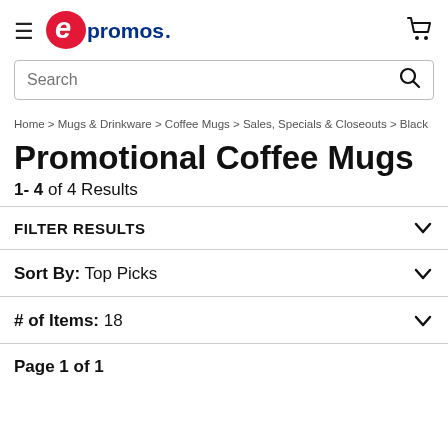epromos logo header with hamburger menu and cart icon
[Figure (logo): epromos logo — red oval with white 'e' and blue 'promos.' text]
Search
Home > Mugs & Drinkware > Coffee Mugs > Sales, Specials & Closeouts > Black
Promotional Coffee Mugs
1- 4 of 4 Results
FILTER RESULTS
Sort By: Top Picks
# of Items: 18
Page 1 of 1